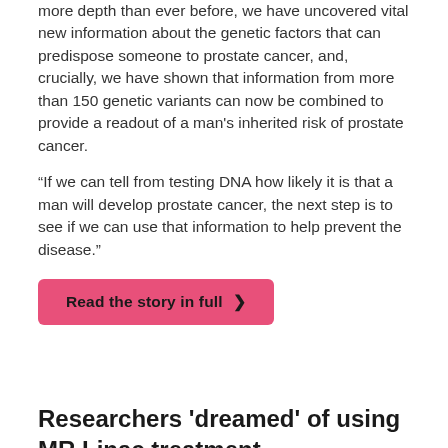more depth than ever before, we have uncovered vital new information about the genetic factors that can predispose someone to prostate cancer, and, crucially, we have shown that information from more than 150 genetic variants can now be combined to provide a readout of a man's inherited risk of prostate cancer.
“If we can tell from testing DNA how likely it is that a man will develop prostate cancer, the next step is to see if we can use that information to help prevent the disease.”
Read the story in full ❯
Researchers 'dreamed' of using MR Linac treatment
We were delighted to announce that the ICR and The Royal Marsden had delivered the first ever treatment in the UK to a patient using a Magnetic Resonance Linear Accelerator (MR Linac) machine.